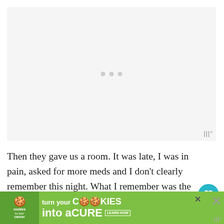[Figure (other): Large white/light gray placeholder area for a video or image embed, with three gray dots loading indicator in center and a small watermark logo in bottom right corner]
Then they gave us a room. It was late, I was in pain, asked for more meds and I don't clearly remember this night. What I remember was the excitement about having my son.
What I was not happy about was the inability to get
[Figure (infographic): Advertisement banner: green background, 'cookies for kids cancer' logo on left, text 'turn your COOKIES into a CURE LEARN HOW' with close button and watermark]